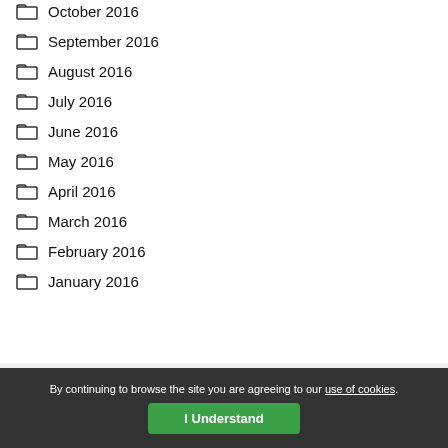October 2016
September 2016
August 2016
July 2016
June 2016
May 2016
April 2016
March 2016
February 2016
January 2016
By continuing to browse the site you are agreeing to our use of cookies. I Understand